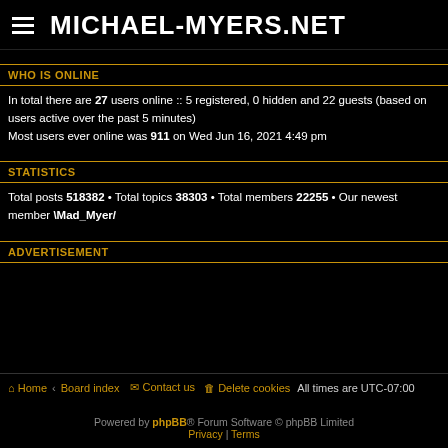MICHAEL-MYERS.NET
WHO IS ONLINE
In total there are 27 users online :: 5 registered, 0 hidden and 22 guests (based on users active over the past 5 minutes)
Most users ever online was 911 on Wed Jun 16, 2021 4:49 pm
STATISTICS
Total posts 518382 • Total topics 38303 • Total members 22255 • Our newest member \Mad_Myer/
ADVERTISEMENT
Home · Board index   Contact us   Delete cookies   All times are UTC-07:00
Powered by phpBB® Forum Software © phpBB Limited
Privacy | Terms